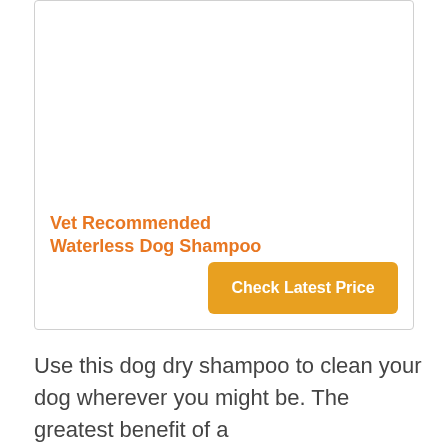Vet Recommended Waterless Dog Shampoo
[Figure (other): Button labeled 'Check Latest Price' with orange background]
Use this dog dry shampoo to clean your dog wherever you might be. The greatest benefit of a